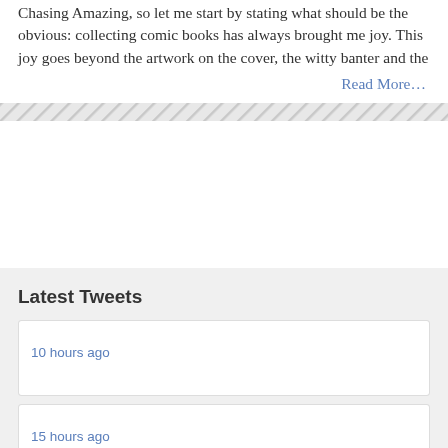Chasing Amazing, so let me start by stating what should be the obvious: collecting comic books has always brought me joy. This joy goes beyond the artwork on the cover, the witty banter and the
Read More...
Latest Tweets
10 hours ago
15 hours ago